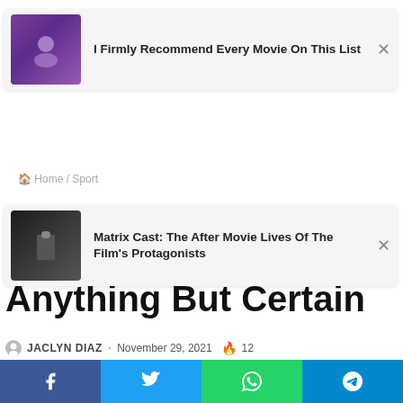[Figure (screenshot): Ad card 1: thumbnail image of person with purple lighting and text 'I Firmly Recommend Every Movie On This List' with X close button]
Home / Sport
[Figure (screenshot): Ad card 2: thumbnail image of Matrix character in black and text 'Matrix Cast: The After Movie Lives Of The Film's Protagonists' with X close button]
Anything But Certain
JACLYN DIAZ · November 29, 2021 🔥 12
[Figure (infographic): Row of 6 social share buttons: Facebook (blue), Twitter (light blue), LinkedIn (dark blue), Tumblr (dark slate), Pinterest (red), Reddit (orange-red)]
[Figure (photo): Partially visible football player wearing a NY Giants helmet, blurred crowd background]
[Figure (infographic): Bottom share bar with Facebook, Twitter, WhatsApp, Telegram icons]